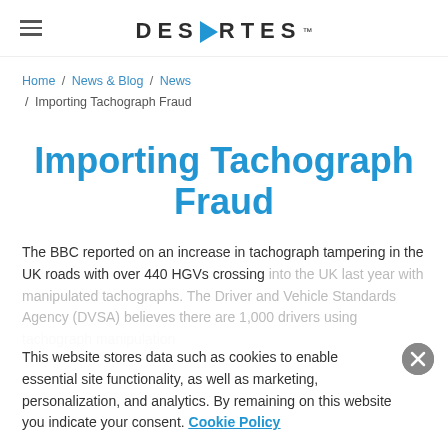DESCARTES
Home / News & Blog / News / Importing Tachograph Fraud
Importing Tachograph Fraud
The BBC reported on an increase in tachograph tampering in the UK roads with over 440 HGVs crossing into the UK last year with manipulated tachographs. The Driver and Vehicle Standards Agency (DVSA) believes there are 1,000 drivers using tachograph manipulation ...
This website stores data such as cookies to enable essential site functionality, as well as marketing, personalization, and analytics. By remaining on this website you indicate your consent. Cookie Policy